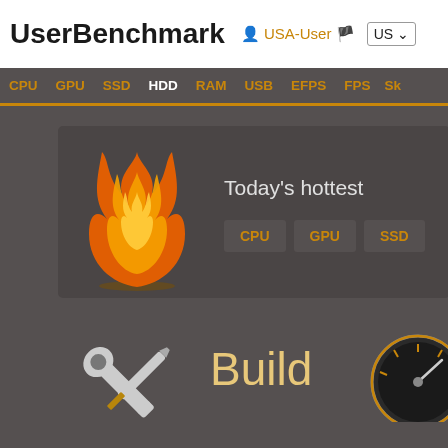UserBenchmark  USA-User  US
CPU  GPU  SSD  HDD  RAM  USB  EFPS  FPS  Sk
[Figure (screenshot): Today's hottest section card with flame graphic, CPU, GPU, SSD tabs]
[Figure (illustration): Build icon with crossed screwdriver and wrench tools]
Build
[Figure (illustration): Speedometer gauge icon (partial, right edge)]
Can Y